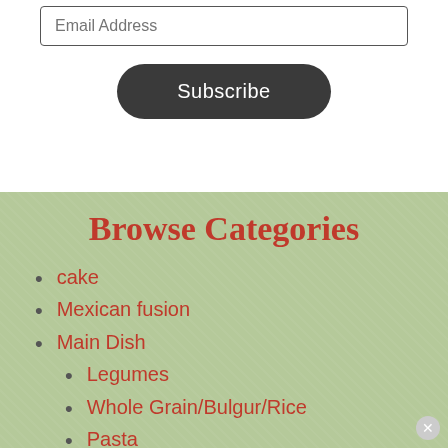Email Address
Subscribe
Browse Categories
cake
Mexican fusion
Main Dish
Legumes
Whole Grain/Bulgur/Rice
Pasta
Meats
Poultry
Fish/Seafood